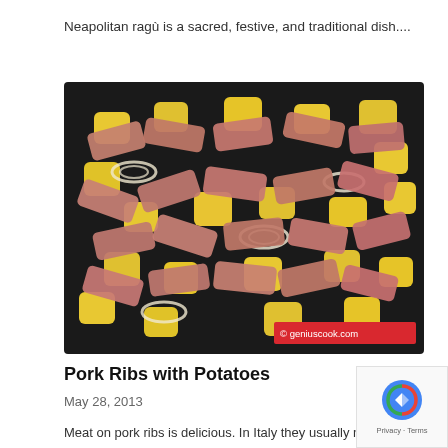Neapolitan ragù is a sacred, festive, and traditional dish....
[Figure (photo): Pork ribs with potatoes and onions arranged in a baking tray, before cooking. Watermark reads © geniuscook.com]
Pork Ribs with Potatoes
May 28, 2013
Meat on pork ribs is delicious. In Italy they usually make it